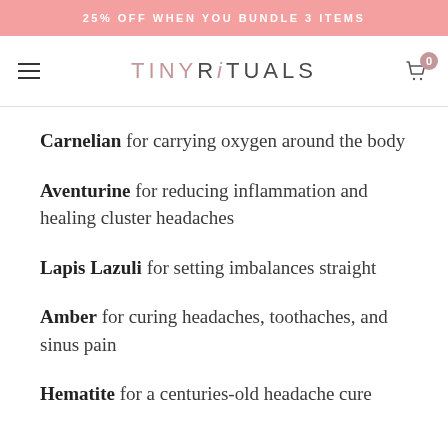25% OFF WHEN YOU BUNDLE 3 ITEMS
TINY RiTUALS
Carnelian for carrying oxygen around the body
Aventurine for reducing inflammation and healing cluster headaches
Lapis Lazuli for setting imbalances straight
Amber for curing headaches, toothaches, and sinus pain
Hematite for a centuries-old headache cure